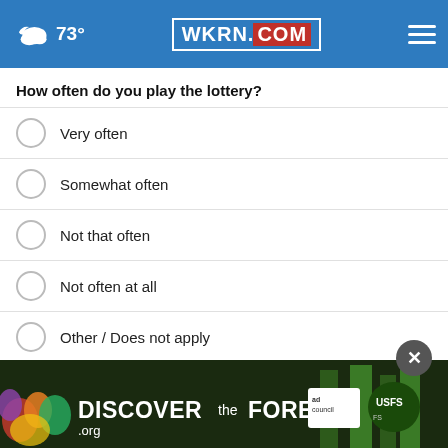73° WKRN.COM
How often do you play the lottery?
Very often
Somewhat often
Not that often
Not often at all
Other / Does not apply
NEXT *
* By clicking "NEXT" you agree to the following: We use cookies to track your survey answers. If you would like to continue with this survey, please read and agree to the CivicScience Privacy Policy and Terms of Service
[Figure (other): Discover the Forest advertisement banner with colorful forest imagery, DISCOVERtheFOREST.org text, Ad Council and USFS logos]